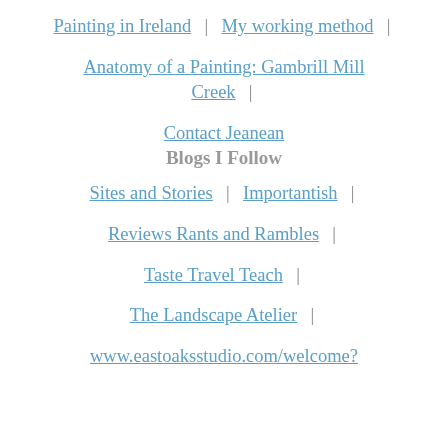Painting in Ireland  |  My working method  |
Anatomy of a Painting: Gambrill Mill Creek  |
Contact Jeanean
Blogs I Follow
Sites and Stories  |  Importantish  |
Reviews Rants and Rambles  |
Taste Travel Teach  |
The Landscape Atelier  |
www.eastoaksstudio.com/welcome?